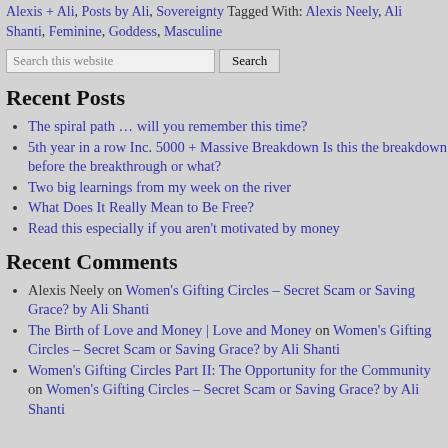Alexis + Ali, Posts by Ali, Sovereignty Tagged With: Alexis Neely, Ali Shanti, Feminine, Goddess, Masculine
The spiral path … will you remember this time?
5th year in a row Inc. 5000 + Massive Breakdown Is this the breakdown before the breakthrough or what?
Two big learnings from my week on the river
What Does It Really Mean to Be Free?
Read this especially if you aren't motivated by money
Recent Comments
Alexis Neely on Women's Gifting Circles – Secret Scam or Saving Grace? by Ali Shanti
The Birth of Love and Money | Love and Money on Women's Gifting Circles – Secret Scam or Saving Grace? by Ali Shanti
Women's Gifting Circles Part II: The Opportunity for the Community on Women's Gifting Circles – Secret Scam or Saving Grace? by Ali Shanti